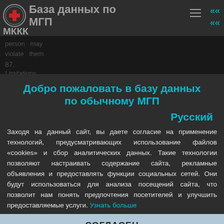База данных по МГП — МККК
person  may
violate  them
87.
Limitations during public emergency
Добро пожаловать в базу данных по обычному МГП
Русский
Заходя на данный сайт, вы даете согласие на применение технологий, предусматривающих использование файлов «cookies» и сбор аналитических данных. Такие технологии позволяют настраивать содержание сайта, рекламные объявления и предоставлять функции социальных сетей. Они будут использоваться для анализа посещений сайта, что позволит нам понять предпочтения посетителей и улучшить предоставляемые услуги. Узнать больше
СОГЛАСЕН